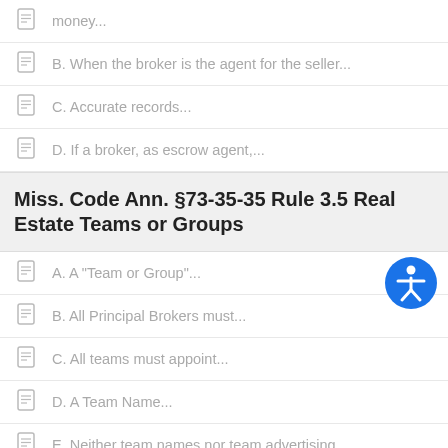money...
B. When the broker is the agent for the seller...
C. Accurate records...
D. If a broker, as escrow agent,...
Miss. Code Ann. §73-35-35 Rule 3.5 Real Estate Teams or Groups
A. A "Team or Group"...
B. All Principal Brokers must...
C. All teams must appoint...
D. A Team Name...
E. Neither team names nor team advertising ...
Mississippi Real Estate Commission
§73-35-19. Real estate license fund